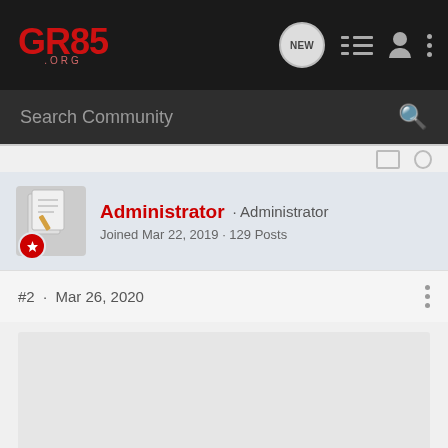GR85.ORG logo and navigation bar
Search Community
Administrator · Administrator
Joined Mar 22, 2019 · 129 Posts
#2 · Mar 26, 2020
[Figure (photo): Light gray placeholder image area]